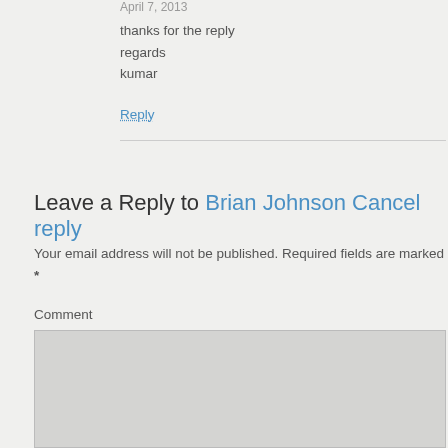April 7, 2013
thanks for the reply
regards
kumar
Reply
Leave a Reply to Brian Johnson Cancel reply
Your email address will not be published. Required fields are marked *
Comment